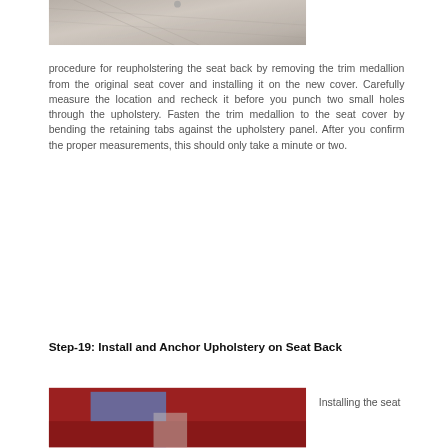[Figure (photo): Close-up photo of upholstery fabric with stitching lines visible, showing a trim detail on a seat cover]
procedure for reupholstering the seat back by removing the trim medallion from the original seat cover and installing it on the new cover. Carefully measure the location and recheck it before you punch two small holes through the upholstery. Fasten the trim medallion to the seat cover by bending the retaining tabs against the upholstery panel. After you confirm the proper measurements, this should only take a minute or two.
Step-19: Install and Anchor Upholstery on Seat Back
[Figure (photo): Photo of a person in a blue shirt working on a red car seat, installing upholstery]
Installing the seat